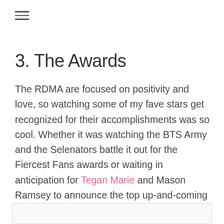≡
3. The Awards
The RDMA are focused on positivity and love, so watching some of my fave stars get recognized for their accomplishments was so cool. Whether it was watching the BTS Army and the Selenators battle it out for the Fiercest Fans awards or waiting in anticipation for Tegan Marie and Mason Ramsey to announce the top up-and-coming country artist, the awards and acceptance speeches are definitely a major highlight of attending the event.
[Figure (other): Partial image or content box visible at the bottom of the page]